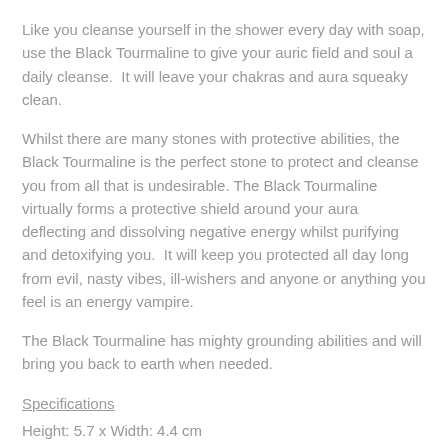Like you cleanse yourself in the shower every day with soap, use the Black Tourmaline to give your auric field and soul a daily cleanse.  It will leave your chakras and aura squeaky clean.
Whilst there are many stones with protective abilities, the Black Tourmaline is the perfect stone to protect and cleanse you from all that is undesirable. The Black Tourmaline virtually forms a protective shield around your aura deflecting and dissolving negative energy whilst purifying and detoxifying you.  It will keep you protected all day long from evil, nasty vibes, ill-wishers and anyone or anything you feel is an energy vampire.
The Black Tourmaline has mighty grounding abilities and will bring you back to earth when needed.
Specifications
Height: 5.7 x Width: 4.4 cm